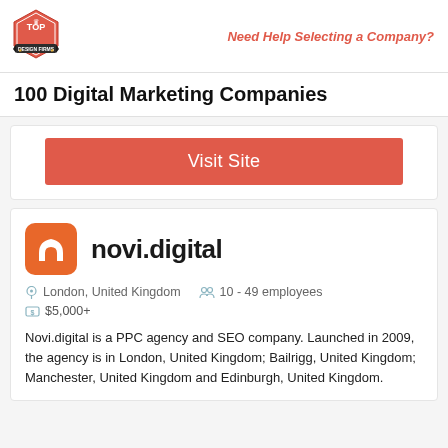Top Design Firms logo | Need Help Selecting a Company?
100 Digital Marketing Companies
Visit Site
[Figure (logo): novi.digital company logo - orange rounded square with white house/arch icon]
novi.digital
London, United Kingdom   10 - 49 employees
$5,000+
Novi.digital is a PPC agency and SEO company. Launched in 2009, the agency is in London, United Kingdom; Bailrigg, United Kingdom; Manchester, United Kingdom and Edinburgh, United Kingdom.